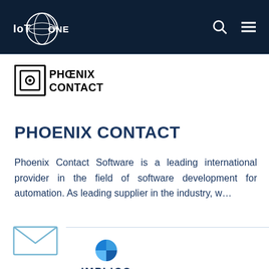IoT ONE
[Figure (logo): Phoenix Contact company logo with icon and bold text PHOENIX CONTACT]
PHOENIX CONTACT
Phoenix Contact Software is a leading international provider in the field of software development for automation. As leading supplier in the industry, w...
[Figure (logo): Implico company logo with colorful pinwheel mark and text IMPLICO]